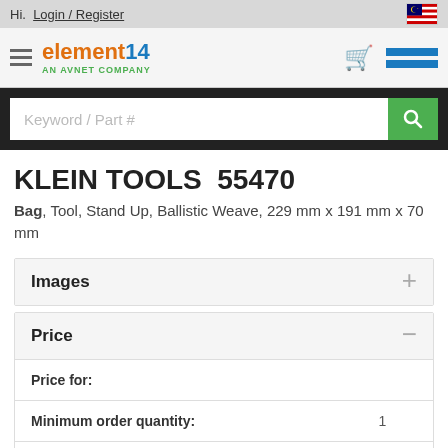Hi. Login / Register
[Figure (logo): element14 AN AVNET COMPANY logo with shopping cart and menu icon]
Keyword / Part #
KLEIN TOOLS  55470
Bag, Tool, Stand Up, Ballistic Weave, 229 mm x 191 mm x 70 mm
Images
Price
| Price for: |  |
| Minimum order quantity: | 1 |
| Order multiple quantity: |  |